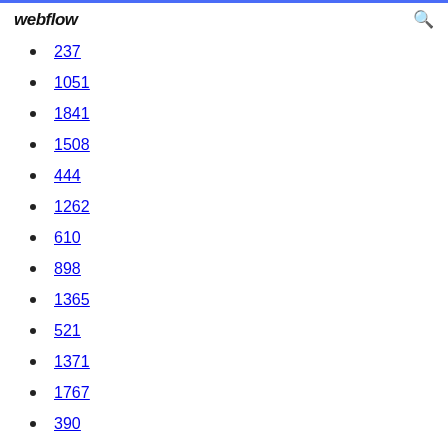webflow
237
1051
1841
1508
444
1262
610
898
1365
521
1371
1767
390